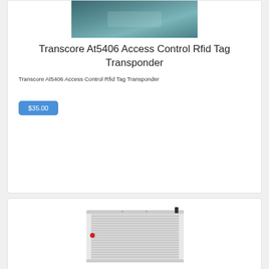[Figure (photo): Product photo of Transcore AT5406 RFID tag transponder - dark teal/blue colored device]
Transcore At5406 Access Control Rfid Tag Transponder
Transcore At5406 Access Control Rfid Tag Transponder
$35.00
[Figure (photo): Photo of an aluminum car radiator with fins and hose connections]